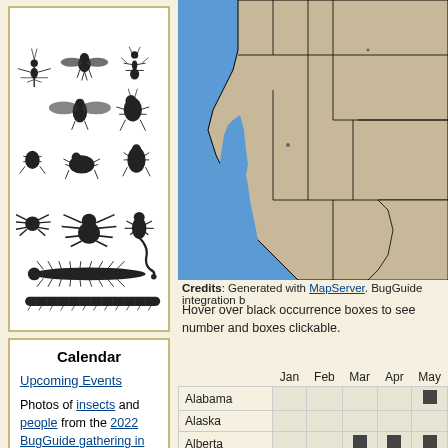[Figure (illustration): Grid of black silhouette illustrations of various insects and arthropods including mosquitoes, ants, beetles, grasshoppers, spiders, scorpions, centipedes, and millipedes]
Calendar
Upcoming Events
Photos of insects and people from the 2022 BugGuide gathering in New Mexico, July 20-24
National Moth Week was July 23-31, 2022!
[Figure (map): US map showing occurrence data with blue ocean/water areas and gray/beige state regions. Some coastal California areas highlighted in blue.]
Credits: Generated with MapServer. BugGuide integration b
Hover over black occurrence boxes to see number and boxes clickable.
|  | Jan | Feb | Mar | Apr | May |
| --- | --- | --- | --- | --- | --- |
| Alabama |  |  |  |  | ■ |
| Alaska |  |  |  |  |  |
| Alberta |  |  | ■ | ■ | ■ |
| Arkansas |  |  |  |  |  |